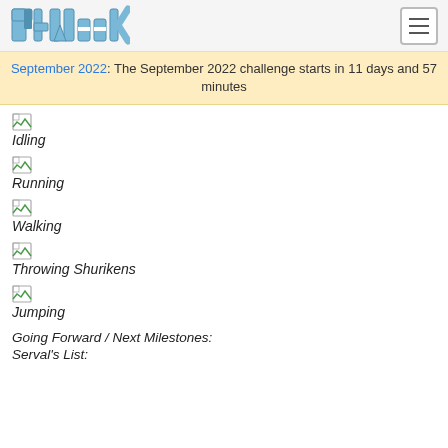PyWeek logo and navigation menu
September 2022: The September 2022 challenge starts in 11 days and 57 minutes
Idling
Running
Walking
Throwing Shurikens
Jumping
Going Forward / Next Milestones:
Serval's List: